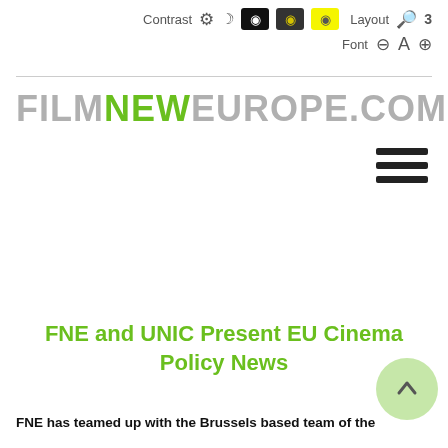Contrast [gear] [moon] [eye-black] [eye-dark] [eye-yellow] Layout [layout-icon] 3 Font - A +
[Figure (logo): FilmNewEurope.com logo with FILM and EUROPE in grey and NEW in green]
[Figure (illustration): Hamburger menu icon with three horizontal bars]
FNE and UNIC Present EU Cinema Policy News
FNE has teamed up with the Brussels based team of the